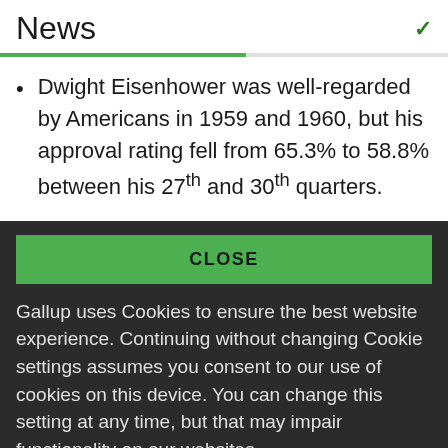News
Dwight Eisenhower was well-regarded by Americans in 1959 and 1960, but his approval rating fell from 65.3% to 58.8% between his 27th and 30th quarters.
CLOSE
Gallup uses Cookies to ensure the best website experience. Continuing without changing Cookie settings assumes you consent to our use of cookies on this device. You can change this setting at any time, but that may impair functionality on our websites.
Privacy Statement   Site Terms of Use and Sale
Product Terms of Use   Adjust your cookie settings.